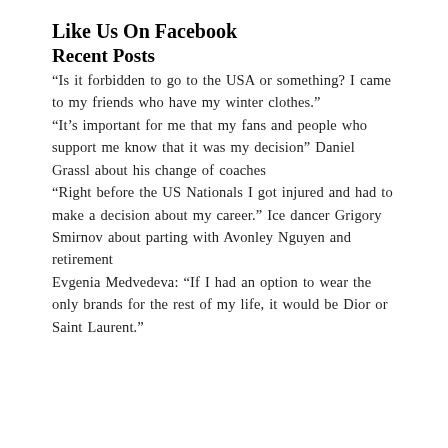Like Us On Facebook
Recent Posts
“Is it forbidden to go to the USA or something? I came to my friends who have my winter clothes.”
“It’s important for me that my fans and people who support me know that it was my decision” Daniel Grassl about his change of coaches
“Right before the US Nationals I got injured and had to make a decision about my career.” Ice dancer Grigory Smirnov about parting with Avonley Nguyen and retirement
Evgenia Medvedeva: “If I had an option to wear the only brands for the rest of my life, it would be Dior or Saint Laurent.”